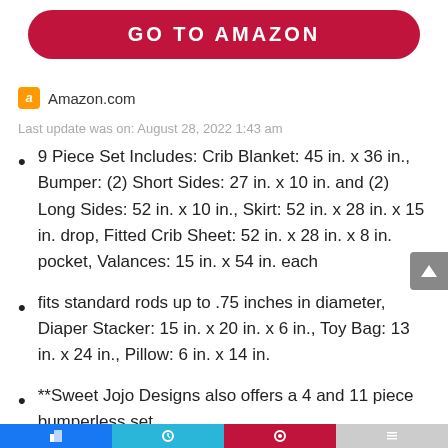[Figure (other): Red rounded button with text GO TO AMAZON]
Amazon.com
Last update was on: August 28, 2022 1:43 am
9 Piece Set Includes: Crib Blanket: 45 in. x 36 in., Bumper: (2) Short Sides: 27 in. x 10 in. and (2) Long Sides: 52 in. x 10 in., Skirt: 52 in. x 28 in. x 15 in. drop, Fitted Crib Sheet: 52 in. x 28 in. x 8 in. pocket, Valances: 15 in. x 54 in. each
fits standard rods up to .75 inches in diameter, Diaper Stacker: 15 in. x 20 in. x 6 in., Toy Bag: 13 in. x 24 in., Pillow: 6 in. x 14 in.
**Sweet Jojo Designs also offers a 4 and 11 piece bumperless set